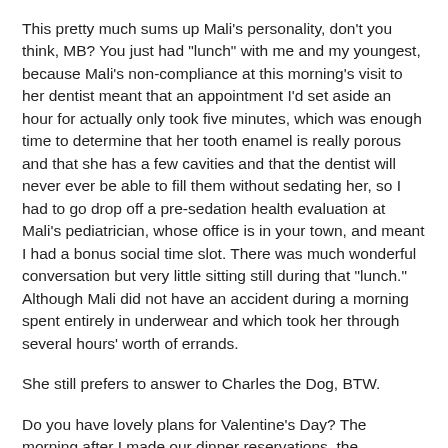This pretty much sums up Mali's personality, don't you think, MB? You just had "lunch" with me and my youngest, because Mali's non-compliance at this morning's visit to her dentist meant that an appointment I'd set aside an hour for actually only took five minutes, which was enough time to determine that her tooth enamel is really porous and that she has a few cavities and that the dentist will never ever be able to fill them without sedating her, so I had to go drop off a pre-sedation health evaluation at Mali's pediatrician, whose office is in your town, and meant I had a bonus social time slot. There was much wonderful conversation but very little sitting still during that "lunch." Although Mali did not have an accident during a morning spent entirely in underwear and which took her through several hours' worth of errands.
She still prefers to answer to Charles the Dog, BTW.
Do you have lovely plans for Valentine's Day? The morning after I made our dinner reservations, the restaurant I'd selected was on the front page of the local paper for giving sixty people food poisoning. For some reason Seymour insisted on canceling the reservation, even though I said that